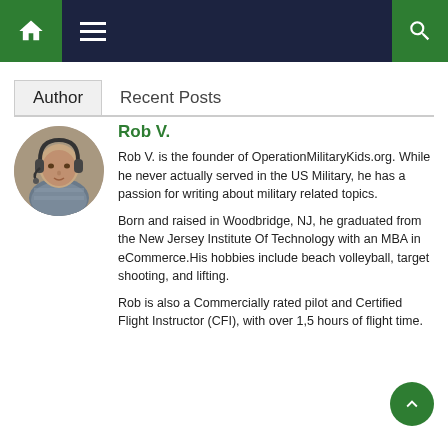Navigation bar with home icon, menu icon, and search icon
Author | Recent Posts
[Figure (photo): Circular profile photo of Rob V. wearing headphones]
Rob V.
Rob V. is the founder of OperationMilitaryKids.org. While he never actually served in the US Military, he has a passion for writing about military related topics.
Born and raised in Woodbridge, NJ, he graduated from the New Jersey Institute Of Technology with an MBA in eCommerce.His hobbies include beach volleyball, target shooting, and lifting.
Rob is also a Commercially rated pilot and Certified Flight Instructor (CFI), with over 1,5 hours of flight time.